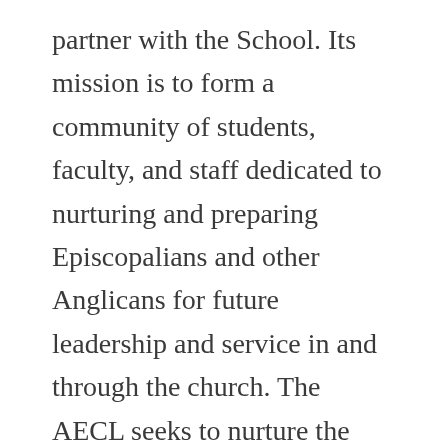partner with the School. Its mission is to form a community of students, faculty, and staff dedicated to nurturing and preparing Episcopalians and other Anglicans for future leadership and service in and through the church. The AECL seeks to nurture the next generation of leaders for the Anglican and Episcopal communions, equipping them in both Anglican and ecumenical traditions of Christianity and providing them with curricular and co-curricular opportunities to ground their academic, spiritual, ecclesial, professional,